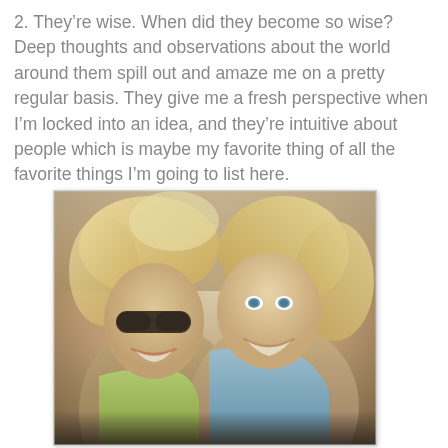2. They're wise. When did they become so wise? Deep thoughts and observations about the world around them spill out and amaze me on a pretty regular basis. They give me a fresh perspective when I'm locked into an idea, and they're intuitive about people which is maybe my favorite thing of all the favorite things I'm going to list here.
[Figure (photo): Photo of two young blonde women smiling and posing together outdoors. The woman on the left is wearing sunglasses and a yellow-green top. The woman on the right is wearing a light blue jacket. Both are smiling warmly.]